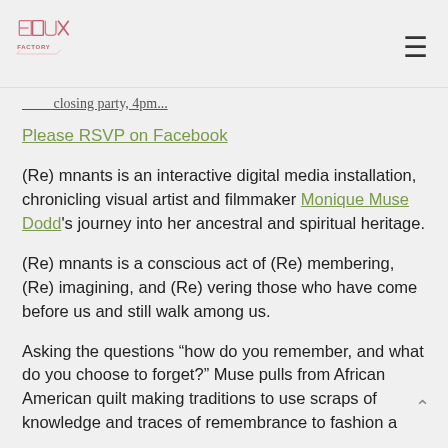FLUX FACTORY [logo] [hamburger menu]
closing party, 4pm...
Please RSVP on Facebook
(Re) mnants is an interactive digital media installation, chronicling visual artist and filmmaker Monique Muse Dodd's journey into her ancestral and spiritual heritage.
(Re) mnants is a conscious act of (Re) membering, (Re) imagining, and (Re) vering those who have come before us and still walk among us.
Asking the questions “how do you remember, and what do you choose to forget?” Muse pulls from African American quilt making traditions to use scraps of knowledge and traces of remembrance to fashion a